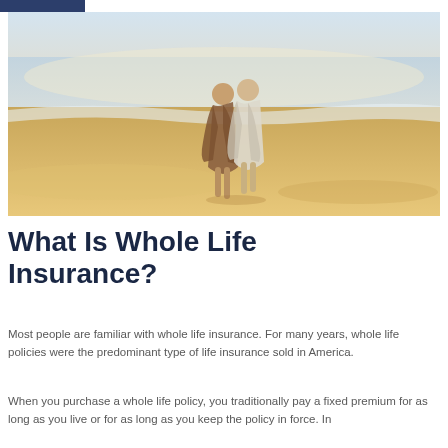[Figure (photo): An elderly couple walking together on a beach, seen from behind, the ocean and shore visible in warm afternoon light.]
What Is Whole Life Insurance?
Most people are familiar with whole life insurance. For many years, whole life policies were the predominant type of life insurance sold in America.
When you purchase a whole life policy, you traditionally pay a fixed premium for as long as you live or for as long as you keep the policy in force. In